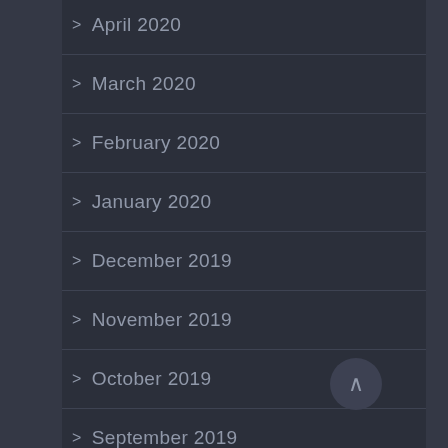> April 2020
> March 2020
> February 2020
> January 2020
> December 2019
> November 2019
> October 2019
> September 2019
> August 2019